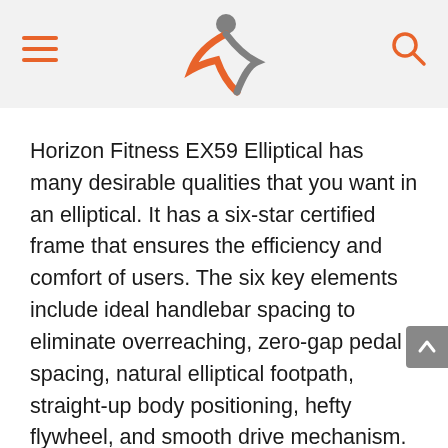Horizon Fitness logo with hamburger menu and search icon
Horizon Fitness EX59 Elliptical has many desirable qualities that you want in an elliptical. It has a six-star certified frame that ensures the efficiency and comfort of users. The six key elements include ideal handlebar spacing to eliminate overreaching, zero-gap pedal spacing, natural elliptical footpath, straight-up body positioning, hefty flywheel, and smooth drive mechanism.
It has features that you would mostly find in expensive models, so it's a good run for a home elliptical under $1000. Horizon Fitness EX59 comes